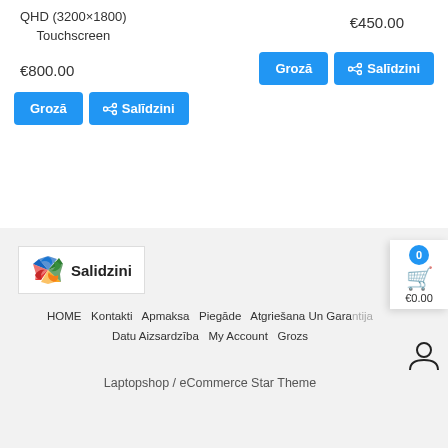QHD (3200×1800)
Touchscreen
€800.00
€450.00
[Figure (screenshot): Blue 'Grozā' button (left) and blue 'Salīdzini' button with compare icon (right) - product action buttons, left column]
[Figure (screenshot): Blue 'Grozā' button (left) and blue 'Salīdzini' button with compare icon (right) - product action buttons, right column]
[Figure (logo): Salidzini logo with colorful star icon and bold text 'Salidzini']
€0.00
HOME   Kontakti   Apmaksa   Piegāde   Atgriešana Un Garantija   Datu Aizsardzība   My Account   Grozs
Laptopshop / eCommerce Star Theme